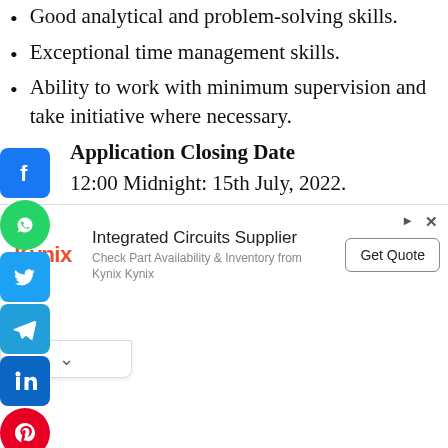Good analytical and problem-solving skills.
Exceptional time management skills.
Ability to work with minimum supervision and take initiative where necessary.
Application Closing Date
12:00 Midnight: 15th July, 2022.
How to Apply
Interested and qualified candidates should:
Click here to Start Application Online
[Figure (other): Social media share icons: Facebook, WhatsApp, Twitter, Telegram, LinkedIn, Pinterest]
Integrated Circuits Supplier
Check Part Availability & Inventory from Kynix Kynix
Get Quote